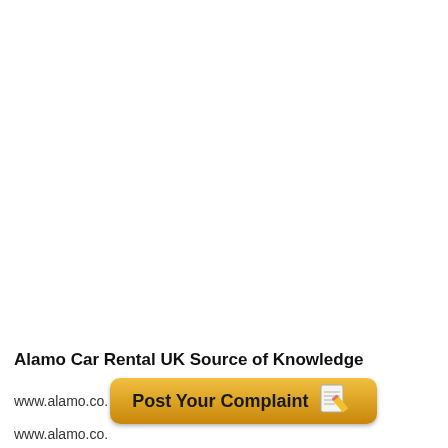Alamo Car Rental UK Source of Knowledge
www.alamo.co.
[Figure (screenshot): A golden/yellow gradient button labeled 'Post Your Complaint' with a notepad-and-pencil icon on the right]
www.alamo.co.